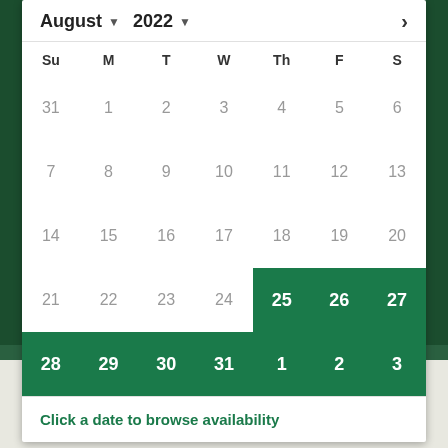[Figure (screenshot): Calendar widget showing August 2022 with dates 25-27 (August) and 28-31 (August) and 1-3 (September) highlighted in green, on a dark green forested background with water reflection]
Click a date to browse availability
→ ABOUT THE TOUR ←